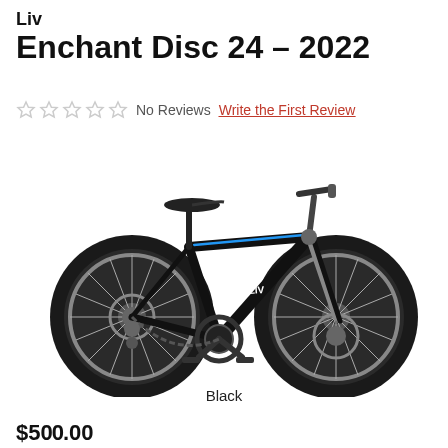Liv
Enchant Disc 24 – 2022
No Reviews  Write the First Review
[Figure (photo): Black Liv Enchant Disc 24 2022 children's mountain bike with disc brakes, black frame with blue accents, on white background]
Black
$500.00